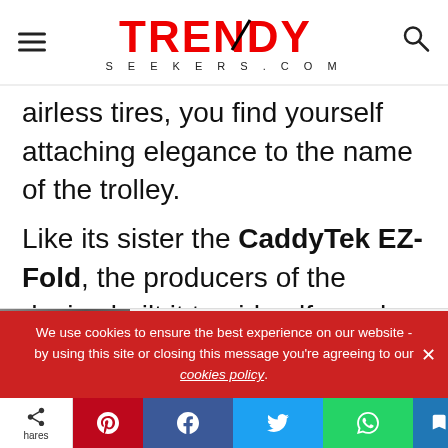TRENDY SEEKERS.COM
airless tires, you find yourself attaching elegance to the name of the trolley.

Like its sister the CaddyTek EZ-Fold, the producers of the device built it to aid golfers who indulge in long hours of daily fun sport. Their goal is to achieve longevity, customization, and convenience. You can
We use cookies to ensure the best experience on our website - by using this site or closing this message you're agreeing to our cookies policy.